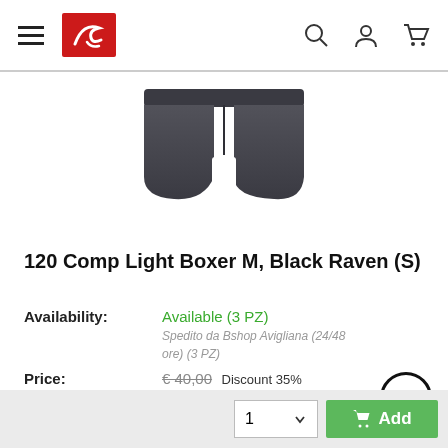[Figure (screenshot): E-commerce website header with hamburger menu, red brand logo, search icon, account icon, and cart icon]
[Figure (photo): Dark grey/black boxer shorts product photo on white background]
120 Comp Light Boxer M, Black Raven (S)
Availability: Available (3 PZ)
Spedito da Bshop Avigliana (24/48 ore) (3 PZ)
Price: € 40,00 Discount 35%
€ 26,00